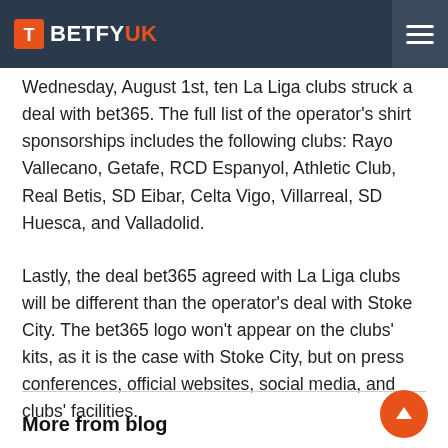BETFYUK
Wednesday, August 1st, ten La Liga clubs struck a deal with bet365. The full list of the operator's shirt sponsorships includes the following clubs: Rayo Vallecano, Getafe, RCD Espanyol, Athletic Club, Real Betis, SD Eibar, Celta Vigo, Villarreal, SD Huesca, and Valladolid.
Lastly, the deal bet365 agreed with La Liga clubs will be different than the operator's deal with Stoke City. The bet365 logo won't appear on the clubs' kits, as it is the case with Stoke City, but on press conferences, official websites, social media, and clubs' facilities.
More from blog